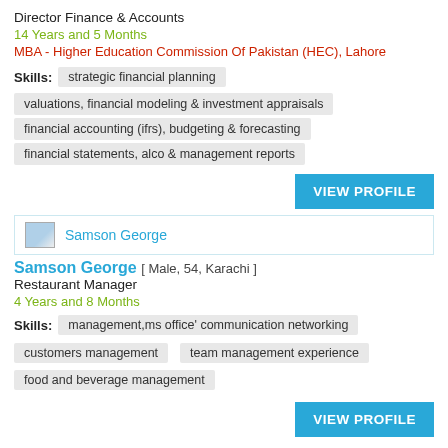Director Finance & Accounts
14 Years and 5 Months
MBA - Higher Education Commission Of Pakistan (HEC), Lahore
Skills: strategic financial planning
valuations, financial modeling & investment appraisals
financial accounting (ifrs), budgeting & forecasting
financial statements, alco & management reports
VIEW PROFILE
[Figure (other): Profile photo placeholder icon for Samson George]
Samson George
Samson George [ Male, 54, Karachi ]
Restaurant Manager
4 Years and 8 Months
Skills: management,ms office' communication networking
customers management
team management experience
food and beverage management
VIEW PROFILE